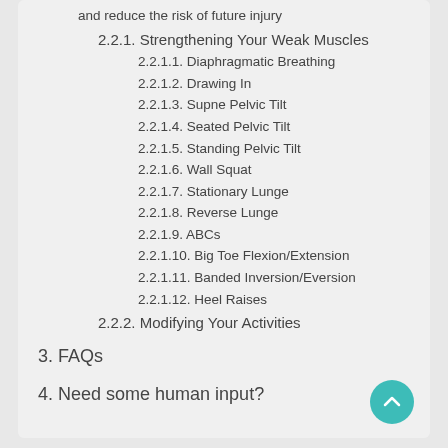and reduce the risk of future injury
2.2.1. Strengthening Your Weak Muscles
2.2.1.1. Diaphragmatic Breathing
2.2.1.2. Drawing In
2.2.1.3. Supne Pelvic Tilt
2.2.1.4. Seated Pelvic Tilt
2.2.1.5. Standing Pelvic Tilt
2.2.1.6. Wall Squat
2.2.1.7. Stationary Lunge
2.2.1.8. Reverse Lunge
2.2.1.9. ABCs
2.2.1.10. Big Toe Flexion/Extension
2.2.1.11. Banded Inversion/Eversion
2.2.1.12. Heel Raises
2.2.2. Modifying Your Activities
3. FAQs
4. Need some human input?